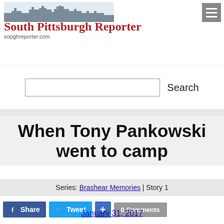[Figure (logo): South Pittsburgh Reporter logo with city skyline silhouette, red serif text 'South Pittsburgh Reporter' and URL 'sopghreporter.com']
Search
When Tony Pankowski went to camp
Series: Brashear Memories | Story 1
Share  Tweet  0 Comments
January 31, 2017